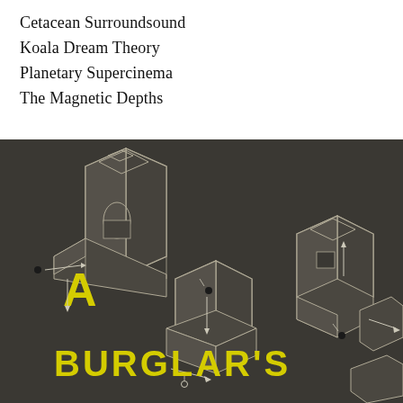Cetacean Surroundsound
Koala Dream Theory
Planetary Supercinema
The Magnetic Depths
[Figure (illustration): Dark architectural isometric diagram showing a building complex from above with white outline lines and arrows indicating a path/route. Yellow bold text reads 'A' at upper left and 'BURGLAR'S' across the lower middle of the image, forming part of a book title. Small figures of people are visible at various points along the route.]